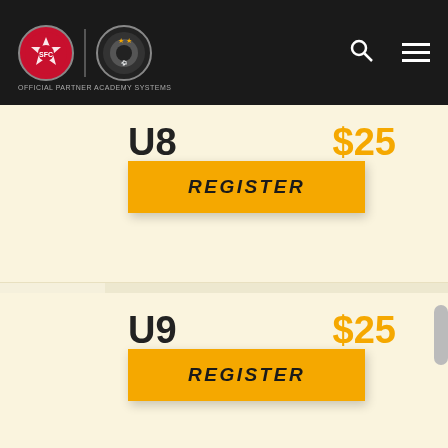[Figure (logo): Southampton FC and partner academy logo on dark navigation bar with search and menu icons]
U8
$25
REGISTER
U9
$25
REGISTER
U10
$25